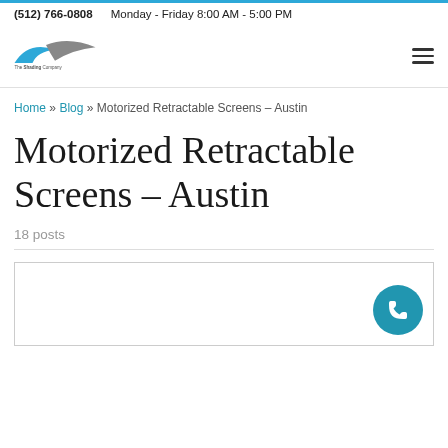(512) 766-0808   Monday - Friday 8:00 AM - 5:00 PM
[Figure (logo): The Shading Company logo with blue and grey swoosh graphic]
Home » Blog » Motorized Retractable Screens – Austin
Motorized Retractable Screens – Austin
18 posts
[Figure (other): White content card area with blue phone call button in bottom right corner]